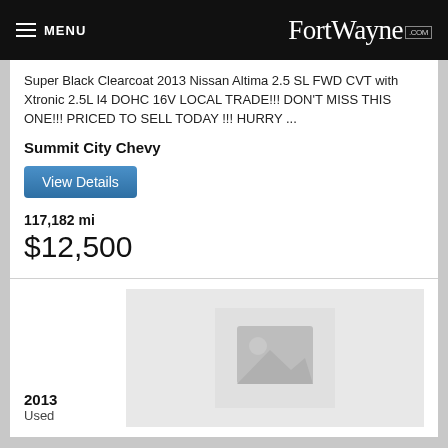MENU  FortWayne.com
Super Black Clearcoat 2013 Nissan Altima 2.5 SL FWD CVT with Xtronic 2.5L I4 DOHC 16V LOCAL TRADE!!! DON'T MISS THIS ONE!!! PRICED TO SELL TODAY !!! HURRY ...
Summit City Chevy
View Details
117,182 mi
$12,500
[Figure (photo): Placeholder image for a vehicle listing — grey box with image placeholder icon]
2013
Used